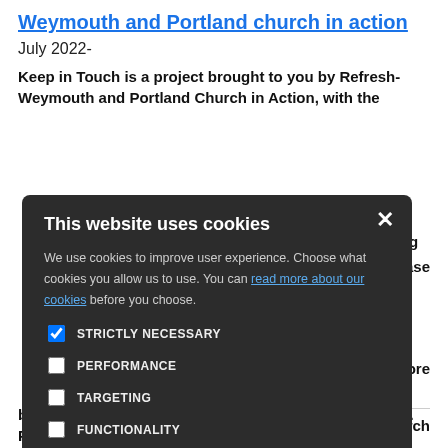Weymouth and Portland church in action
July 2022-
Keep in Touch is a project brought to you by Refresh-Weymouth and Portland Church in Action, with the
[Figure (screenshot): Cookie consent modal dialog with dark background. Contains title 'This website uses cookies', body text about cookie usage, a link 'read more about our cookies', four checkboxes (Strictly Necessary checked, Performance, Targeting, Functionality), and two buttons: ACCEPT ALL (green) and DECLINE ALL (outlined).]
be grateful if you could help us by completing a survey. Please click on the link below